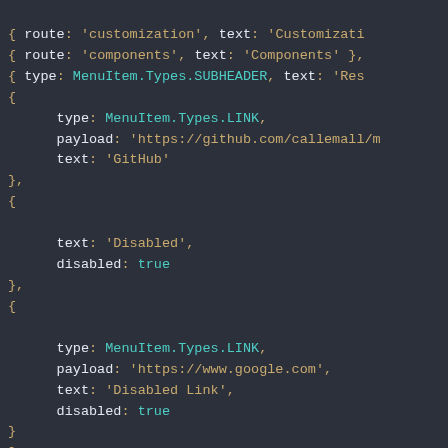[Figure (screenshot): Syntax-highlighted JavaScript/JSX code snippet showing an array of menu item configuration objects with types, payloads, text, and disabled properties, followed by injectTapEventPlugin() call and Header = React.createClass({ with _toggle(e){ method beginning.]